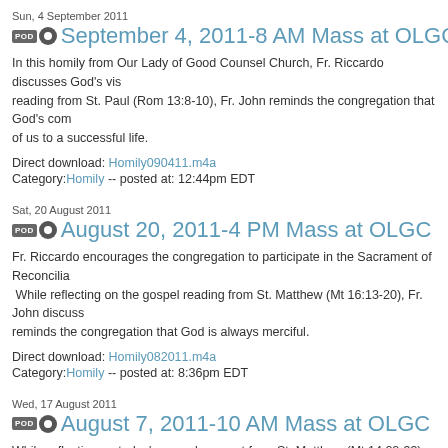Sun, 4 September 2011
September 4, 2011-8 AM Mass at OLGC
In this homily from Our Lady of Good Counsel Church, Fr. Riccardo discusses God's vi... reading from St. Paul (Rom 13:8-10), Fr. John reminds the congregation that God's com... of us to a successful life.
Direct download: Homily090411.m4a
Category:Homily -- posted at: 12:44pm EDT
Sat, 20 August 2011
August 20, 2011-4 PM Mass at OLGC
Fr. Riccardo encourages the congregation to participate in the Sacrament of Reconcilia... While reflecting on the gospel reading from St. Matthew (Mt 16:13-20), Fr. John discuss... reminds the congregation that God is always merciful.
Direct download: Homily082011.m4a
Category:Homily -- posted at: 8:36pm EDT
Wed, 17 August 2011
August 7, 2011-10 AM Mass at OLGC
While reflecting on today's gospel account from St. Matthew (Mt 14:22-33), Fr. Riccardo... for fear and anxiety. Fr. John reminds us that in times of need we need to remember...